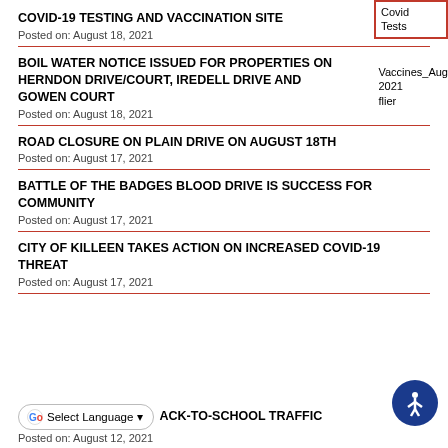COVID-19 TESTING AND VACCINATION SITE
Posted on: August 18, 2021
BOIL WATER NOTICE ISSUED FOR PROPERTIES ON HERNDON DRIVE/COURT, IREDELL DRIVE AND GOWEN COURT
Posted on: August 18, 2021
ROAD CLOSURE ON PLAIN DRIVE ON AUGUST 18TH
Posted on: August 17, 2021
BATTLE OF THE BADGES BLOOD DRIVE IS SUCCESS FOR COMMUNITY
Posted on: August 17, 2021
CITY OF KILLEEN TAKES ACTION ON INCREASED COVID-19 THREAT
Posted on: August 17, 2021
ACK-TO-SCHOOL TRAFFIC
Posted on: August 12, 2021